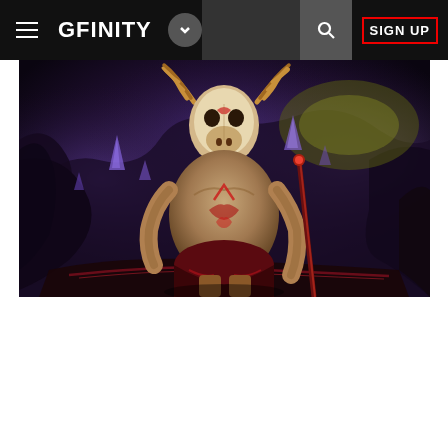Gfinity navigation bar with logo, dropdown, search, and sign up button
[Figure (screenshot): World of Warcraft style game screenshot showing a large tauren or deer-antlered character in the center holding a staff, set against a purple and dark cave background with crystals]